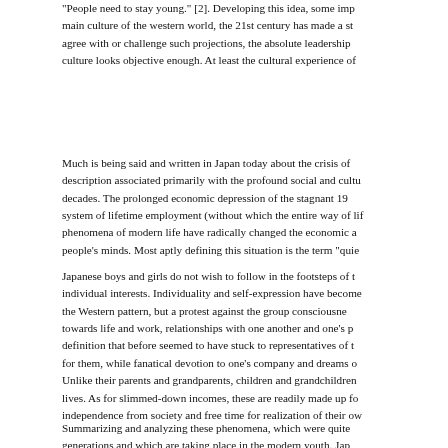"People need to stay young." [2]. Developing this idea, some imp main culture of the western world, the 21st century has made a st agree with or challenge such projections, the absolute leadership culture looks objective enough. At least the cultural experience of
Much is being said and written in Japan today about the crisis of description associated primarily with the profound social and cultu decades. The prolonged economic depression of the stagnant 19 system of lifetime employment (without which the entire way of lif phenomena of modern life have radically changed the economic a people's minds. Most aptly defining this situation is the term "quie
Japanese boys and girls do not wish to follow in the footsteps of b individual interests. Individuality and self-expression have become the Western pattern, but a protest against the group consciousne towards life and work, relationships with one another and one's p definition that before seemed to have stuck to representatives of for them, while fanatical devotion to one's company and dreams c Unlike their parents and grandparents, children and grandchildren lives. As for slimmed-down incomes, these are readily made up fo independence from society and free time for realization of their ow
Summarizing and analyzing these phenomena, which were quite generations and which are taking place in the modern youth. Jap Thus, the famous Japanese scholar Hayashi Tikio, who studied fo became well-known in Europe by the trend that he observed among